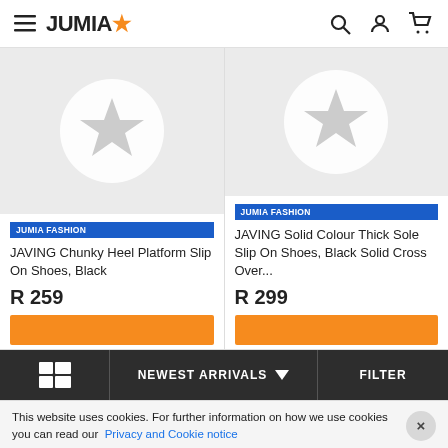JUMIA
[Figure (screenshot): Left product card: placeholder image with white circle and star icon on grey background, JUMIA FASHION badge, product title 'JAVING Chunky Heel Platform Slip On Shoes, Black', price 'R 259', orange add-to-cart button]
[Figure (screenshot): Right product card: placeholder image with white circle and star icon on grey background, JUMIA FASHION badge, product title 'JAVING Solid Colour Thick Sole Slip On Shoes, Black Solid Cross Over...', price 'R 299', orange add-to-cart button]
NEWEST ARRIVALS
FILTER
This website uses cookies. For further information on how we use cookies you can read our Privacy and Cookie notice